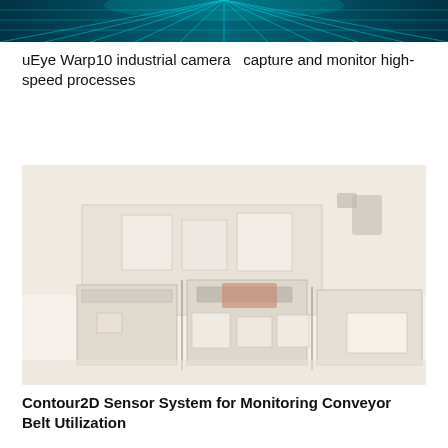[Figure (photo): Top banner image with a teal/cyan geometric grid or network pattern on a dark background, suggesting a technology/industrial theme.]
uEye Warp10 industrial camera  capture and monitor high-speed processes
[Figure (photo): A faded/washed-out photo of an industrial conveyor belt system with boxes or packages being transported, viewed from an angle. The conveyor system appears to have multiple lanes and sections.]
Contour2D Sensor System for Monitoring Conveyor Belt Utilization